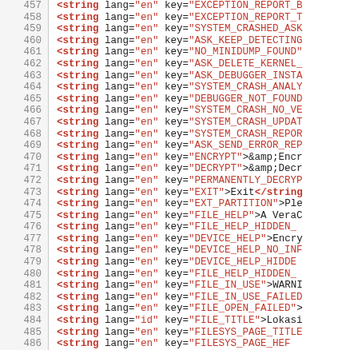Source code listing lines 457-486, XML string elements with lang and key attributes
457   <string lang="en" key="EXCEPTION_REPORT_B
458   <string lang="en" key="EXCEPTION_REPORT_T
459   <string lang="en" key="SYSTEM_CRASHED_ASK
460   <string lang="en" key="ASK_KEEP_DETECTING
461   <string lang="en" key="NO_MINIDUMP_FOUND"
462   <string lang="en" key="ASK_DELETE_KERNEL_
463   <string lang="en" key="ASK_DEBUGGER_INSTA
464   <string lang="en" key="SYSTEM_CRASH_ANALY
465   <string lang="en" key="DEBUGGER_NOT_FOUND
466   <string lang="en" key="SYSTEM_CRASH_NO_VE
467   <string lang="en" key="SYSTEM_CRASH_UPDAT
468   <string lang="en" key="SYSTEM_CRASH_REPOR
469   <string lang="en" key="ASK_SEND_ERROR_REP
470   <string lang="en" key="ENCRYPT">&amp;Encr
471   <string lang="en" key="DECRYPT">&amp;Decr
472   <string lang="en" key="PERMANENTLY_DECRYP
473   <string lang="en" key="EXIT">Exit</string
474   <string lang="en" key="EXT_PARTITION">Ple
475   <string lang="en" key="FILE_HELP">A VeraC
476   <string lang="en" key="FILE_HELP_HIDDEN_
477   <string lang="en" key="DEVICE_HELP">Encry
478   <string lang="en" key="DEVICE_HELP_NO_INF
479   <string lang="en" key="DEVICE_HELP_HIDDE
480   <string lang="en" key="FILE_HELP_HIDDEN_
481   <string lang="en" key="FILE_IN_USE">WARNI
482   <string lang="en" key="FILE_IN_USE_FAILED
483   <string lang="en" key="FILE_OPEN_FAILED">
484   <string lang="id" key="FILE_TITLE">Lokasi
485   <string lang="en" key="FILESYS_PAGE_TITLE
486   <string lang="en" key="FILESYS_PAGE_HEF